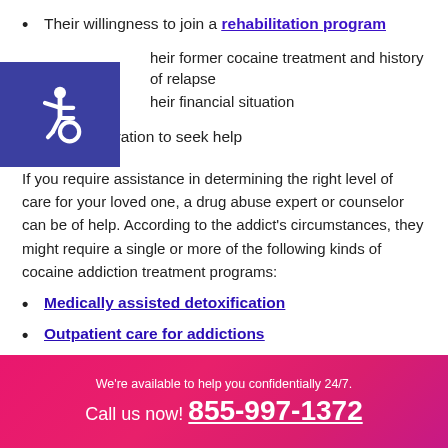Their willingness to join a rehabilitation program
Their former cocaine treatment and history of relapse
Their financial situation
Their motivation to seek help
If you require assistance in determining the right level of care for your loved one, a drug abuse expert or counselor can be of help. According to the addict’s circumstances, they might require a single or more of the following kinds of cocaine addiction treatment programs:
Medically assisted detoxification
Outpatient care for addictions
We're available to help you confidentially 24/7. Call us now! 855-997-1372